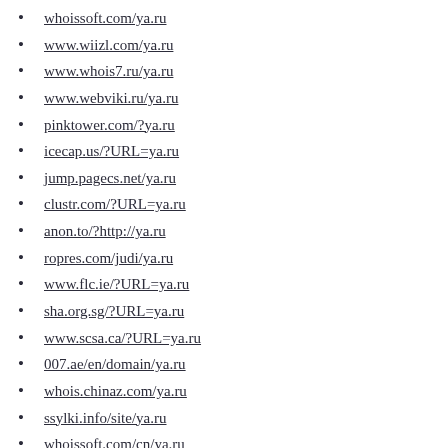whoissoft.com/ya.ru
www.wiizl.com/ya.ru
www.whois7.ru/ya.ru
www.webviki.ru/ya.ru
pinktower.com/?ya.ru
icecap.us/?URL=ya.ru
jump.pagecs.net/ya.ru
clustr.com/?URL=ya.ru
anon.to/?http://ya.ru
ropres.com/judi/ya.ru
www.flc.ie/?URL=ya.ru
sha.org.sg/?URL=ya.ru
www.scsa.ca/?URL=ya.ru
007.ae/en/domain/ya.ru
whois.chinaz.com/ya.ru
ssylki.info/site/ya.ru
whoissoft.com/cn/ya.ru
uk.ask.com/web?q=ya.ru
actontv.org/?URL=ya.ru